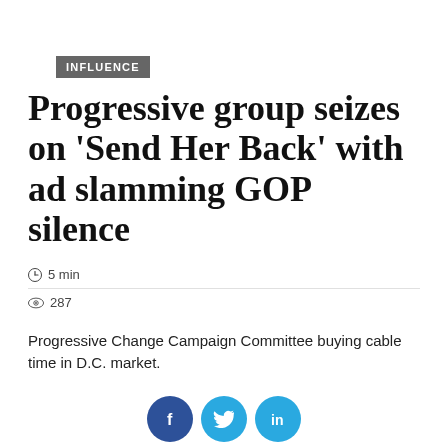INFLUENCE
Progressive group seizes on ‘Send Her Back’ with ad slamming GOP silence
5 min
287
Progressive Change Campaign Committee buying cable time in D.C. market.
[Figure (other): Social media share buttons: Facebook (f), Twitter (bird), LinkedIn (in)]
CONTINUE READING →